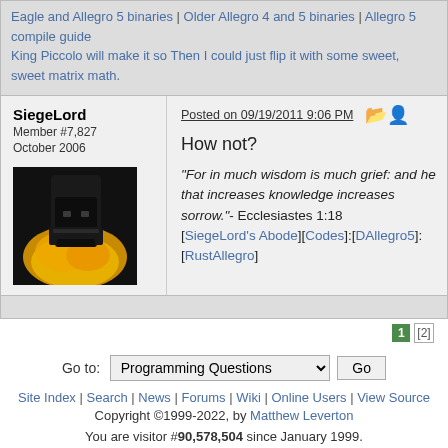Eagle and Allegro 5 binaries | Older Allegro 4 and 5 binaries | Allegro 5 compile guide
King Piccolo will make it so Then I could just flip it with some sweet, sweet matrix math.
SiegeLord
Member #7,827
October 2006
Posted on 09/19/2011 9:06 PM
How not?
"For in much wisdom is much grief: and he that increases knowledge increases sorrow."- Ecclesiastes 1:18
[SiegeLord's Abode][Codes]:[DAllegro5]:[RustAllegro]
Go to: Programming Questions | Go
Site Index | Search | News | Forums | Wiki | Online Users | View Source
Copyright ©1999-2022, by Matthew Leverton
You are visitor #90,578,504 since January 1999.
This page has been viewed 463 times since March 2002.
Page generated in 0.025710 seconds.